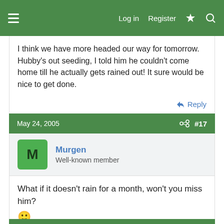Log in  Register
I think we have more headed our way for tomorrow. Hubby's out seeding, I told him he couldn't come home till he actually gets rained out! It sure would be nice to get done.
Reply
May 24, 2005  #17
Murgen
Well-known member
What if it doesn't rain for a month, won't you miss him? 🙂
Reply